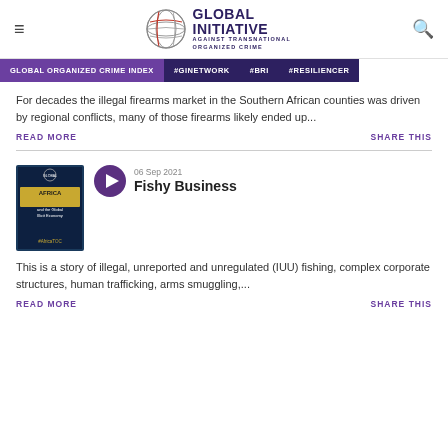Global Initiative Against Transnational Organized Crime
GLOBAL ORGANIZED CRIME INDEX  #GINETWORK  #BRI  #RESILIENCER
For decades the illegal firearms market in the Southern African counties was driven by regional conflicts, many of those firearms likely ended up...
READ MORE   SHARE THIS
[Figure (illustration): Book cover: Africa and the Global Illicit Economy #AfricaTOC, Global Initiative logo]
06 Sep 2021
Fishy Business
This is a story of illegal, unreported and unregulated (IUU) fishing, complex corporate structures, human trafficking, arms smuggling,...
READ MORE   SHARE THIS